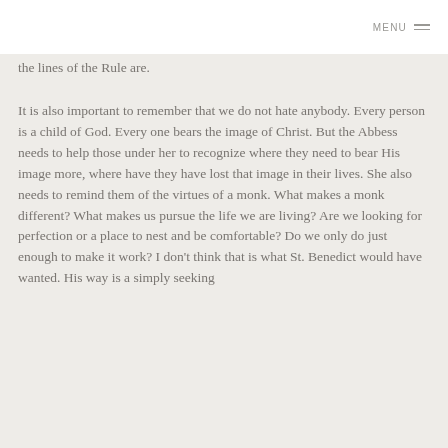MENU
the lines of the Rule are.
It is also important to remember that we do not hate anybody. Every person is a child of God. Every one bears the image of Christ. But the Abbess needs to help those under her to recognize where they need to bear His image more, where have they have lost that image in their lives. She also needs to remind them of the virtues of a monk. What makes a monk different? What makes us pursue the life we are living? Are we looking for perfection or a place to nest and be comfortable? Do we only do just enough to make it work? I don't think that is what St. Benedict would have wanted. His way is a simply seeking